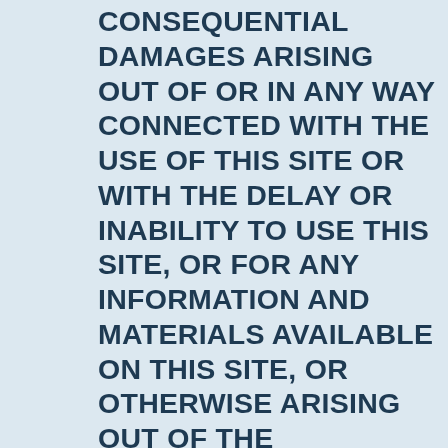CONSEQUENTIAL DAMAGES ARISING OUT OF OR IN ANY WAY CONNECTED WITH THE USE OF THIS SITE OR WITH THE DELAY OR INABILITY TO USE THIS SITE, OR FOR ANY INFORMATION AND MATERIALS AVAILABLE ON THIS SITE, OR OTHERWISE ARISING OUT OF THE UTILIZATION OF THIS SITE, WHETHER BASED IN CONTRACT, TORT, STRICT LIABILITY, OR OTHERWISE, EVEN IF FORTNEYSCOTT HAS BEEN ADVISED OF THE POSSIBILITY OF DAMAGES. BECAUSE SOME STATES/JURISDICTIONS DO NOT ALLOW THE EXCLUSION OR LIMITATION OF LIABILITY FOR CONSEQUENTIAL OR INCIDENTAL DAMAGES, THE ABOVE LIMITATION MAY